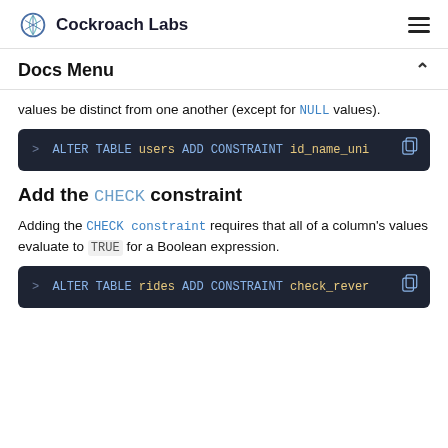Cockroach Labs
Docs Menu
values be distinct from one another (except for NULL values).
[Figure (screenshot): > ALTER TABLE users ADD CONSTRAINT id_name_uni]
Add the CHECK constraint
Adding the CHECK constraint requires that all of a column's values evaluate to TRUE for a Boolean expression.
[Figure (screenshot): > ALTER TABLE rides ADD CONSTRAINT check_rever]